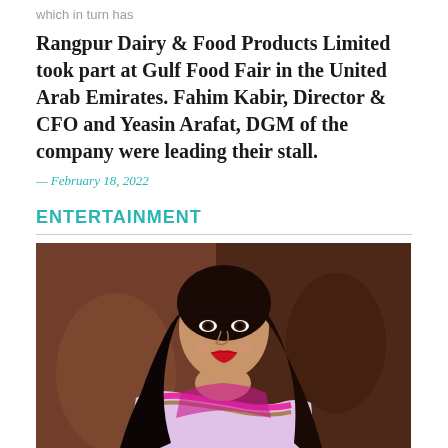which in turn has
Rangpur Dairy & Food Products Limited took part at Gulf Food Fair in the United Arab Emirates. Fahim Kabir, Director & CFO and Yeasin Arafat, DGM of the company were leading their stall.
— February 18, 2022
ENTERTAINMENT
[Figure (photo): Portrait photo of a woman with long black hair, wearing a light pink/lavender saree with pink and gold border, smiling with red lipstick, posed against a dark reddish-brown background.]